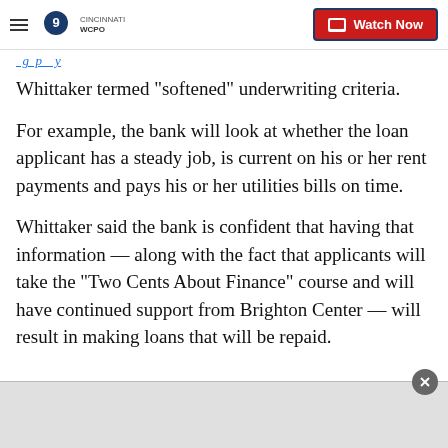WCPO 9 Cincinnati — Watch Now
Whittaker termed "softened" underwriting criteria.
For example, the bank will look at whether the loan applicant has a steady job, is current on his or her rent payments and pays his or her utilities bills on time.
Whittaker said the bank is confident that having that information — along with the fact that applicants will take the "Two Cents About Finance" course and will have continued support from Brighton Center — will result in making loans that will be repaid.